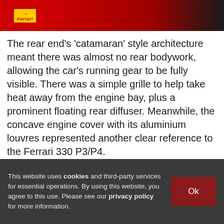[Figure (screenshot): Ferrari logo and red/black header banner image at the top of the page]
The rear end’s ‘catamaran’ style architecture meant there was almost no rear bodywork, allowing the car’s running gear to be fully visible. There was a simple grille to help take heat away from the engine bay, plus a prominent floating rear diffuser. Meanwhile, the concave engine cover with its aluminium louvres represented another clear reference to the Ferrari 330 P3/P4.
The P80/C was made entirely from carbonfibre, which was left bare wherever the parts had a purely technical function. In contrast, the main bodywork was painted in a bright red called Rosso Vero – a name chosen by the unnamed client.
This website uses cookies and third-party services for essential operations. By using this website, you agree to this use. Please see our privacy policy for more information. Ok